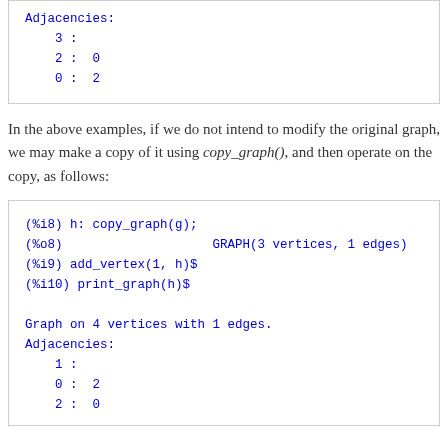Adjacencies:
    3 :
    2 :  0
    0 :  2
In the above examples, if we do not intend to modify the original graph, we may make a copy of it using copy_graph(), and then operate on the copy, as follows:
(%i8) h: copy_graph(g);
(%o8)                    GRAPH(3 vertices, 1 edges)
(%i9) add_vertex(1, h)$
(%i10) print_graph(h)$

Graph on 4 vertices with 1 edges.
Adjacencies:
    1 :
    0 :  2
    2 :  0